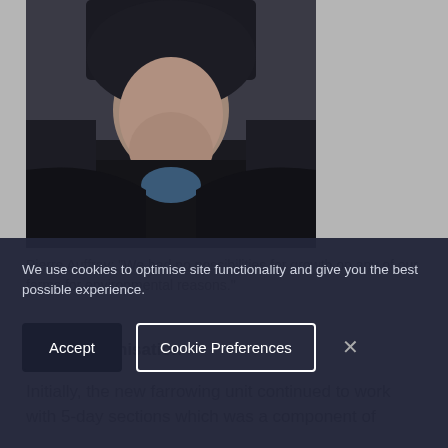[Figure (photo): Portrait photo of a man wearing a dark jacket/hoodie with a blue shirt visible underneath. The photo is cropped at the top showing head and upper torso against a grey background.]
Pierre Auffray: “We had no possibilities for growth on any of our farms for environmental reasons.”
A new organisation
Initially, the new farrowing unit continued to work with 5-day sections which was a component of
We use cookies to optimise site functionality and give you the best possible experience.